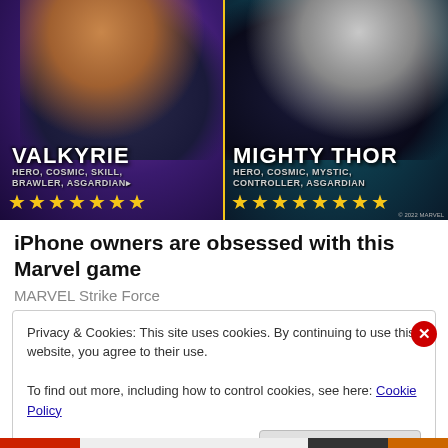[Figure (screenshot): Marvel Strike Force game advertisement showing two characters: Valkyrie (left) with tags HERO, COSMIC, SKILL, BRAWLER, ASGARDIAN and 7 gold stars, and Mighty Thor (right) with tags HERO, COSMIC, MYSTIC, CONTROLLER, ASGARDIAN and 8 gold stars. Copyright 2022 MARVEL.]
iPhone owners are obsessed with this Marvel game
MARVEL Strike Force
Privacy & Cookies: This site uses cookies. By continuing to use this website, you agree to their use.
To find out more, including how to control cookies, see here: Cookie Policy
Close and accept